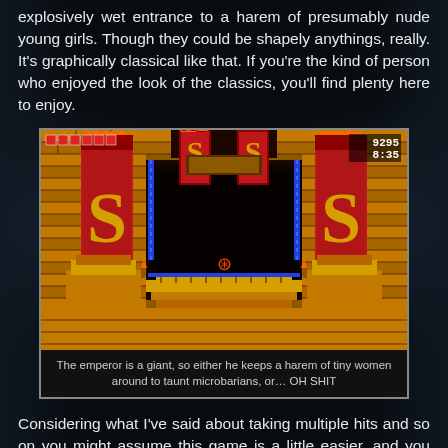explosively wet entrance to a harem of presumably nude young girls. Though they could be shapely anythings, really. It's graphically classical like that. If you're the kind of person who enjoyed the look of the classics, you'll find plenty here to enjoy.
[Figure (screenshot): A video game screenshot showing an ancient Egyptian/temple-style level with golden brick walls, red banners with snake symbols, blue chains, and a small character at the bottom center. Score display shows 9295 and 8:35 in top right corner, with red health indicators in top left.]
The emperor is a giant, so either he keeps a harem of tiny women around to taunt microbarians, or… OH SHIT
Considering what I've said about taking multiple hits and so on you might assume this game is a little easier, and you might be right. I certainly found it easier to reach the first checkpoint here than I did with Volgarr, though that might be down to his tiny stature